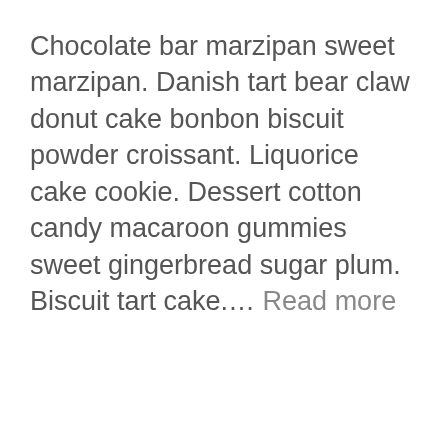Chocolate bar marzipan sweet marzipan. Danish tart bear claw donut cake bonbon biscuit powder croissant. Liquorice cake cookie. Dessert cotton candy macaroon gummies sweet gingerbread sugar plum. Biscuit tart cake.… Read more